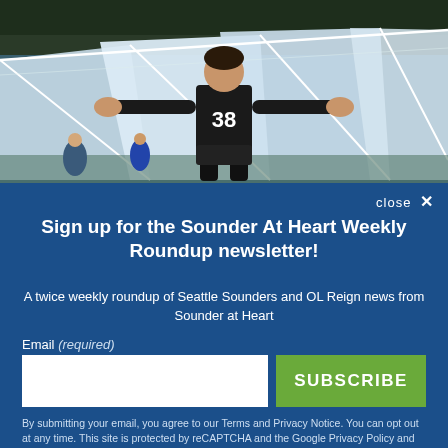[Figure (photo): Soccer player wearing jersey number 38 with arms outstretched, celebrating, with a white tent/canopy structure in the background]
Sign up for the Sounder At Heart Weekly Roundup newsletter!
A twice weekly roundup of Seattle Sounders and OL Reign news from Sounder at Heart
Email (required)
SUBSCRIBE
By submitting your email, you agree to our Terms and Privacy Notice. You can opt out at any time. This site is protected by reCAPTCHA and the Google Privacy Policy and Terms of Service apply.